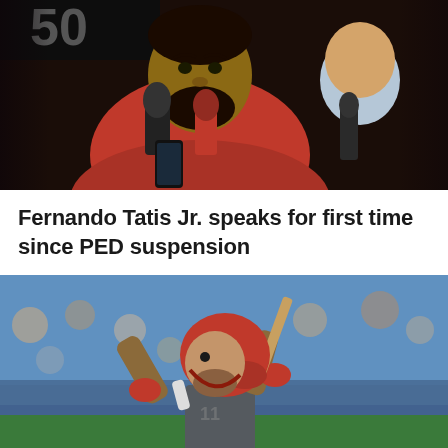[Figure (photo): Fernando Tatis Jr. speaking at a press conference wearing a red polo shirt, holding a phone, with microphones in front of him and another person in a light blue shirt in the background]
Fernando Tatis Jr. speaks for first time since PED suspension
[Figure (photo): A baseball player in a gray uniform and red helmet mid-swing, with a crowd of spectators visible in the background]